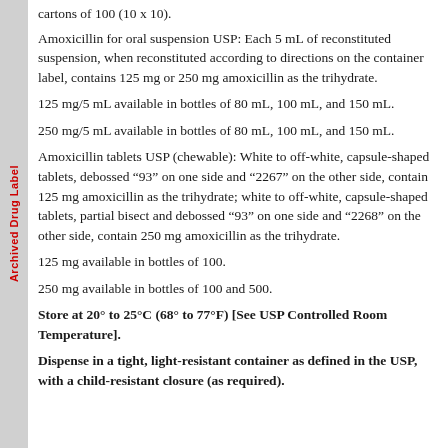cartons of 100 (10 x 10).
Amoxicillin for oral suspension USP: Each 5 mL of reconstituted suspension, when reconstituted according to directions on the container label, contains 125 mg or 250 mg amoxicillin as the trihydrate.
125 mg/5 mL available in bottles of 80 mL, 100 mL, and 150 mL.
250 mg/5 mL available in bottles of 80 mL, 100 mL, and 150 mL.
Amoxicillin tablets USP (chewable): White to off-white, capsule-shaped tablets, debossed “93” on one side and “2267” on the other side, contain 125 mg amoxicillin as the trihydrate; white to off-white, capsule-shaped tablets, partial bisect and debossed “93” on one side and “2268” on the other side, contain 250 mg amoxicillin as the trihydrate.
125 mg available in bottles of 100.
250 mg available in bottles of 100 and 500.
Store at 20° to 25°C (68° to 77°F) [See USP Controlled Room Temperature].
Dispense in a tight, light-resistant container as defined in the USP, with a child-resistant closure (as required).